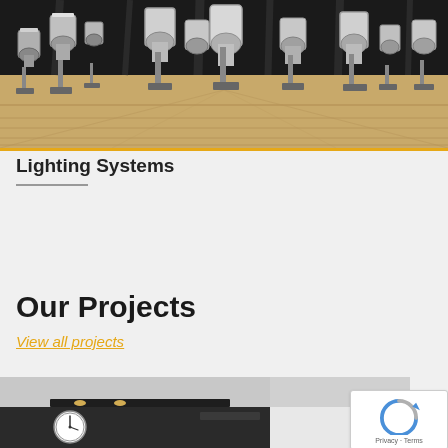[Figure (photo): Overhead view of multiple chrome stage lighting fixtures arranged on a wooden floor against dark curtain backdrop with orange border at bottom]
Lighting Systems
[Figure (photo): Interior ceiling view showing mounted lighting and a clock on a dark surface]
Our Projects
View all projects
[Figure (other): reCAPTCHA widget with Privacy and Terms links]